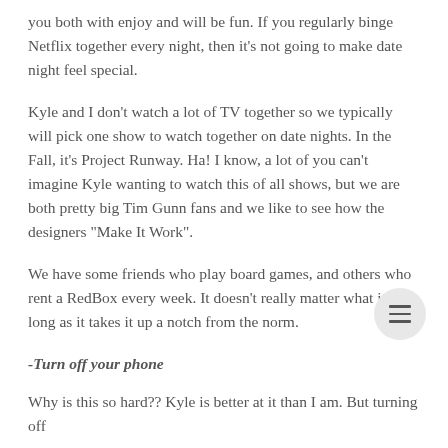you both with enjoy and will be fun. If you regularly binge Netflix together every night, then it's not going to make date night feel special.
Kyle and I don't watch a lot of TV together so we typically will pick one show to watch together on date nights. In the Fall, it's Project Runway. Ha! I know, a lot of you can't imagine Kyle wanting to watch this of all shows, but we are both pretty big Tim Gunn fans and we like to see how the designers "Make It Work".
We have some friends who play board games, and others who rent a RedBox every week. It doesn't really matter what it is as long as it takes it up a notch from the norm.
-Turn off your phone
Why is this so hard?? Kyle is better at it than I am. But turning off